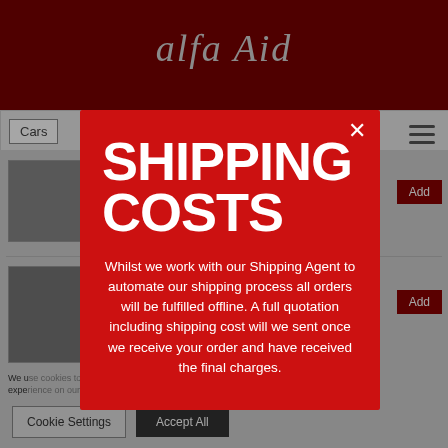[Figure (screenshot): Alfa Aid website screenshot showing dark red header with cursive logo, navigation bar with Cars menu, product listings with images and Add buttons, bottom text, and cookie consent bar. Overlaid by a red modal popup.]
SHIPPING COSTS
Whilst we work with our Shipping Agent to automate our shipping process all orders will be fulfilled offline. A full quotation including shipping cost will we sent once we receive your order and have received the final charges.
Cookie Settings
Accept All